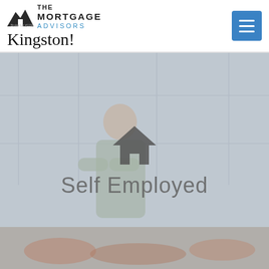[Figure (logo): The Mortgage Advisors Kingston! logo with house/mountain icon]
[Figure (illustration): Menu/hamburger icon button in blue]
[Figure (photo): Hero image of a self-employed person (man in apron with arms crossed) in a large windowed space with produce in foreground, overlaid with semi-transparent grey wash, a house icon, and the text 'Self Employed']
Self Employed